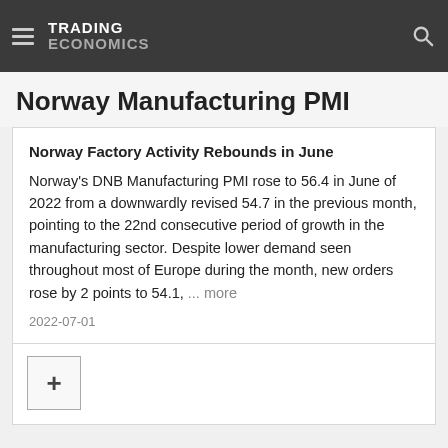TRADING ECONOMICS
Norway Manufacturing PMI
Norway Factory Activity Rebounds in June
Norway's DNB Manufacturing PMI rose to 56.4 in June of 2022 from a downwardly revised 54.7 in the previous month, pointing to the 22nd consecutive period of growth in the manufacturing sector. Despite lower demand seen throughout most of Europe during the month, new orders rose by 2 points to 54.1, ... more
2022-07-01
Related
Norway Retail Sales Drop 2.1% MoM in July